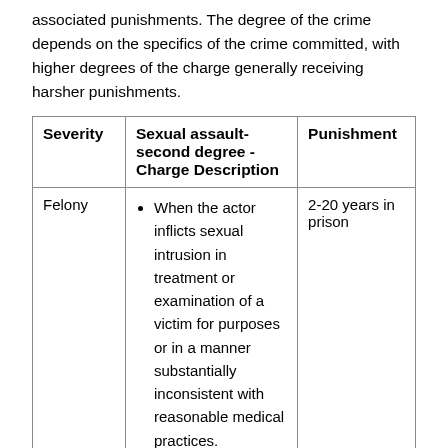associated punishments. The degree of the crime depends on the specifics of the crime committed, with higher degrees of the charge generally receiving harsher punishments.
| Severity | Sexual assault- second degree - Charge Description | Punishment |
| --- | --- | --- |
| Felony | When the actor inflicts sexual intrusion in treatment or examination of a victim for purposes or in a manner substantially inconsistent with reasonable medical practices.
When the | 2-20 years in prison |